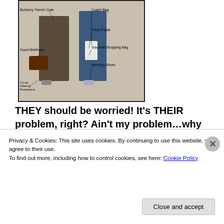[Figure (illustration): Annotated illustration of two people with labels: Burberry Trench Coat, Coach Bag, Fresh Pasta, Gucci Briefcase, Gourmet Shopping Bag, Running Shoes, Co-op Offering Prospectus]
THEY should be worried! It's THEIR problem, right? Ain't my problem…why should I care? See?
[Figure (illustration): Cartoon image of a frog sitting on a laptop, tongue out catching a fly, on a blue circular background. Tim Sheperd Bloomer watermark visible.]
Privacy & Cookies: This site uses cookies. By continuing to use this website, you agree to their use.
To find out more, including how to control cookies, see here: Cookie Policy